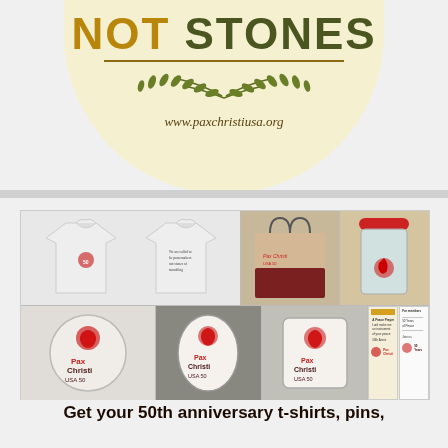[Figure (logo): Pax Christi USA logo — cream/yellow semi-circle with 'NOT STONES' text (NOT in gold/olive, STONES in dark olive), a horizontal line, crossed olive laurel branches, and website www.paxchristiusa.org]
[Figure (photo): Grid of Pax Christi USA 50th anniversary merchandise: two white t-shirts (front and back), a tote bag, a tumbler with red rose, three pins/buttons with rose logo (round, oval, rectangular), and two document/brochure pages]
Get your 50th anniversary t-shirts, pins,